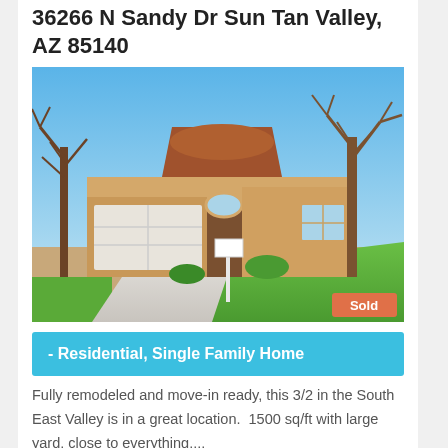36266 N Sandy Dr Sun Tan Valley, AZ 85140
[Figure (photo): Exterior photo of a single-story tan stucco home with tile roof, two-car garage, driveway, green lawn, and bare trees. A white realtor sign is visible in the yard. A 'Sold' badge appears in the bottom-right corner of the image.]
- Residential, Single Family Home
Fully remodeled and move-in ready, this 3/2 in the South East Valley is in a great location.  1500 sq/ft with large yard, close to everything....
More Details ▸